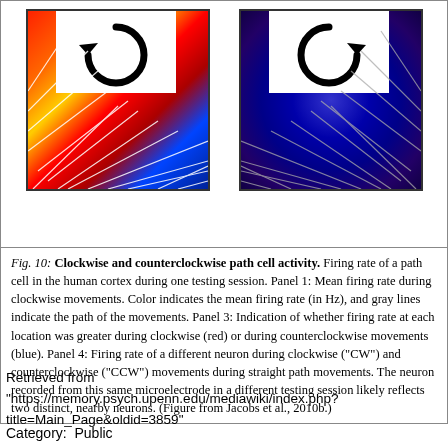[Figure (illustration): Two side-by-side panels showing clockwise and counterclockwise path cell activity. Left panel shows a warm-colored (red/orange/yellow) heatmap of firing rate with a white box at top center containing a clockwise arrow, overlaid with gray path lines. Right panel shows a cool-colored (blue/purple) heatmap with a white box at top center containing a counterclockwise arrow, overlaid with gray path lines.]
Fig. 10: Clockwise and counterclockwise path cell activity. Firing rate of a path cell in the human cortex during one testing session. Panel 1: Mean firing rate during clockwise movements. Color indicates the mean firing rate (in Hz), and gray lines indicate the path of the movements. Panel 3: Indication of whether firing rate at each location was greater during clockwise (red) or during counterclockwise movements (blue). Panel 4: Firing rate of a different neuron during clockwise ("CW") and counterclockwise ("CCW") movements during straight path movements. The neuron recorded from this same microelectrode in a different testing session likely reflects two distinct, nearby neurons. (Figure from Jacobs et al., 2010b.)
Retrieved from "https://memory.psych.upenn.edu/mediawiki/index.php?title=Main_Page&oldid=3859"
Category:  Public